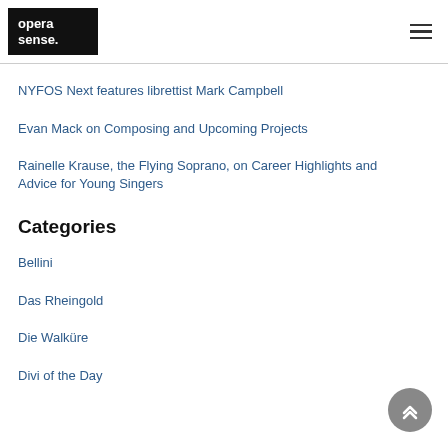opera sense.
NYFOS Next features librettist Mark Campbell
Evan Mack on Composing and Upcoming Projects
Rainelle Krause, the Flying Soprano, on Career Highlights and Advice for Young Singers
Categories
Bellini
Das Rheingold
Die Walküre
Divi of the Day